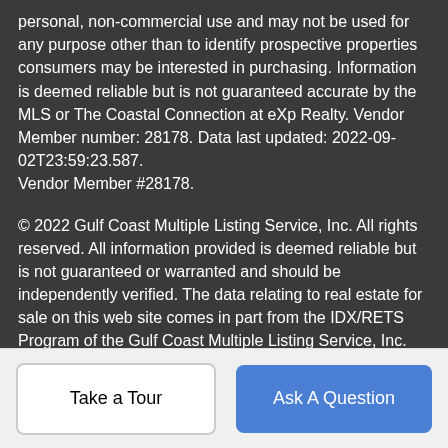personal, non-commercial use and may not be used for any purpose other than to identify prospective properties consumers may be interested in purchasing. Information is deemed reliable but is not guaranteed accurate by the MLS or The Coastal Connection at eXp Realty. Vendor Member number: 28178. Data last updated: 2022-09-02T23:59:23.587. Vendor Member #28178.
© 2022 Gulf Coast Multiple Listing Service, Inc. All rights reserved. All information provided is deemed reliable but is not guaranteed or warranted and should be independently verified. The data relating to real estate for sale on this web site comes in part from the IDX/RETS Program of the Gulf Coast Multiple Listing Service, Inc. IDX/RETS real estate listings displayed which are held by other brokerage firms contain the name of the listing firm. The information being provided is for consumers' personal, non-commercial use and will not be used for any purpose other than to identify prospective properties consumers may be interested in
Take a Tour | Ask A Question